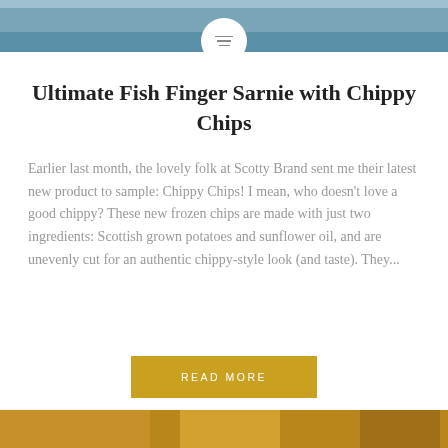[Figure (photo): Top portion of a food photo showing a white plate on a dark background, with a circular menu/hamburger icon overlay in the center]
Ultimate Fish Finger Sarnie with Chippy Chips
Earlier last month, the lovely folk at Scotty Brand sent me their latest new product to sample: Chippy Chips! I mean, who doesn't love a good chippy? These new frozen chips are made with just two ingredients: Scottish grown potatoes and sunflower oil, and are unevenly cut for an authentic chippy-style look (and taste). They...
READ MORE
[Figure (photo): Bottom strip showing a food photo of golden fried chips/fish]